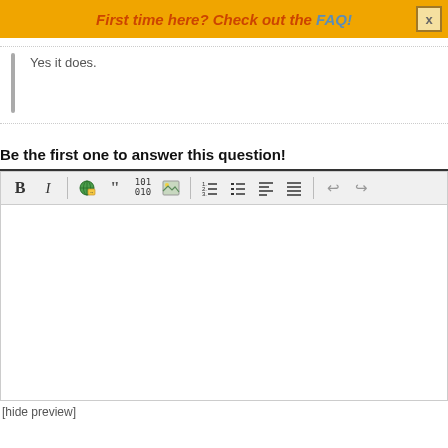First time here? Check out the FAQ!
Yes it does.
Be the first one to answer this question!
[Figure (screenshot): Rich text editor toolbar with buttons: Bold (B), Italic (I), separator, hyperlink/globe icon, blockquote (66), code (101 010), image, separator, ordered list, unordered list, align left, align right, separator, undo, redo]
[hide preview]